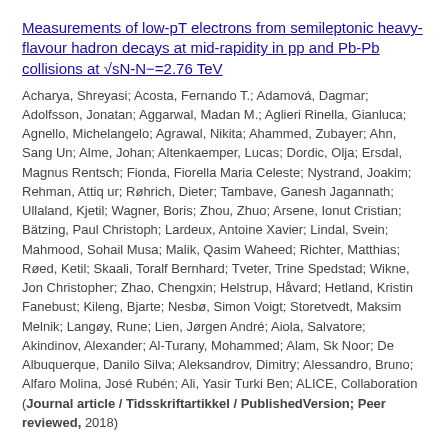Measurements of low-pT electrons from semileptonic heavy-flavour hadron decays at mid-rapidity in pp and Pb-Pb collisions at √sN-N−=2.76 TeV
Acharya, Shreyasi; Acosta, Fernando T.; Adamová, Dagmar; Adolfsson, Jonatan; Aggarwal, Madan M.; Aglieri Rinella, Gianluca; Agnello, Michelangelo; Agrawal, Nikita; Ahammed, Zubayer; Ahn, Sang Un; Alme, Johan; Altenkaemper, Lucas; Dordic, Olja; Ersdal, Magnus Rentsch; Fionda, Fiorella Maria Celeste; Nystrand, Joakim; Rehman, Attiq ur; Røhrich, Dieter; Tambave, Ganesh Jagannath; Ullaland, Kjetil; Wagner, Boris; Zhou, Zhuo; Arsene, Ionut Cristian; Bätzing, Paul Christoph; Lardeux, Antoine Xavier; Lindal, Svein; Mahmood, Sohail Musa; Malik, Qasim Waheed; Richter, Matthias; Røed, Ketil; Skaali, Toralf Bernhard; Tveter, Trine Spedstad; Wikne, Jon Christopher; Zhao, Chengxin; Helstrup, Håvard; Hetland, Kristin Fanebust; Kileng, Bjarte; Nesbø, Simon Voigt; Storetvedt, Maksim Melnik; Langøy, Rune; Lien, Jørgen André; Aiola, Salvatore; Akindinov, Alexander; Al-Turany, Mohammed; Alam, Sk Noor; De Albuquerque, Danilo Silva; Aleksandrov, Dimitry; Alessandro, Bruno; Alfaro Molina, José Rubén; Ali, Yasir Turki Ben; ALICE, Collaboration (Journal article / Tidsskriftartikkel / PublishedVersion; Peer reviewed, 2018)